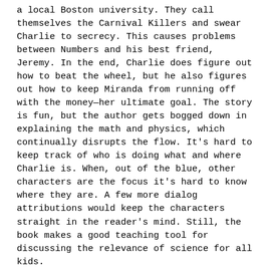a local Boston university. They call themselves the Carnival Killers and swear Charlie to secrecy. This causes problems between Numbers and his best friend, Jeremy. In the end, Charlie does figure out how to beat the wheel, but he also figures out how to keep Miranda from running off with the money—her ultimate goal. The story is fun, but the author gets bogged down in explaining the math and physics, which continually disrupts the flow. It's hard to keep track of who is doing what and where Charlie is. When, out of the blue, other characters are the focus it's hard to know where they are. A few more dialog attributions would keep the characters straight in the reader's mind. Still, the book makes a good teaching tool for discussing the relevance of science for all kids.
BIBLIO: 2014, Simon & Schuster Books for Young Readers/Simon & Schuster Children's Publishing